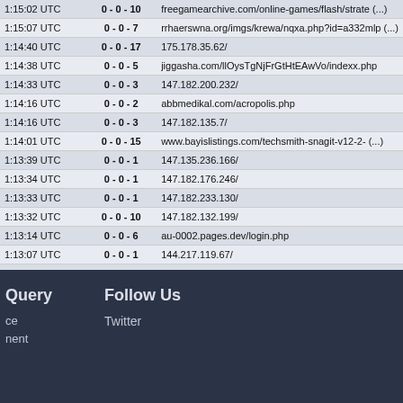| Time | Score | URL |
| --- | --- | --- |
| 1:15:02 UTC | 0 - 0 - 10 | freegamearchive.com/online-games/flash/strate (...) |
| 1:15:07 UTC | 0 - 0 - 7 | rrhaerswna.org/imgs/krewa/nqxa.php?id=a332mlp (...) |
| 1:14:40 UTC | 0 - 0 - 17 | 175.178.35.62/ |
| 1:14:38 UTC | 0 - 0 - 5 | jiggasha.com/llOysTgNjFrGtHtEAwVo/indexx.php |
| 1:14:33 UTC | 0 - 0 - 3 | 147.182.200.232/ |
| 1:14:16 UTC | 0 - 0 - 2 | abbmedikal.com/acropolis.php |
| 1:14:16 UTC | 0 - 0 - 3 | 147.182.135.7/ |
| 1:14:01 UTC | 0 - 0 - 15 | www.bayislistings.com/techsmith-snagit-v12-2- (...) |
| 1:13:39 UTC | 0 - 0 - 1 | 147.135.236.166/ |
| 1:13:34 UTC | 0 - 0 - 1 | 147.182.176.246/ |
| 1:13:33 UTC | 0 - 0 - 1 | 147.182.233.130/ |
| 1:13:32 UTC | 0 - 0 - 10 | 147.182.132.199/ |
| 1:13:14 UTC | 0 - 0 - 6 | au-0002.pages.dev/login.php |
| 1:13:07 UTC | 0 - 0 - 1 | 144.217.119.67/ |
| 1:13:04 UTC | 0 - 0 - 1 | 144.217.87.213/ |
| 1:12:47 UTC | 0 - 0 - 1 | pastebin.com/raw/CT99TgLf |
Query
Follow Us
Twitter
ce
nent